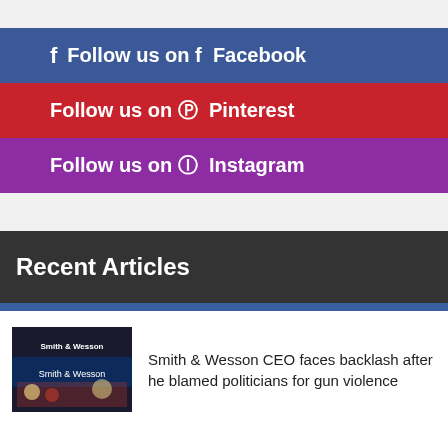Follow us on Facebook
Follow us on Pinterest
Follow us on Instagram
Recent Articles
[Figure (photo): Smith & Wesson storefront/display with crowd]
Smith & Wesson CEO faces backlash after he blamed politicians for gun violence
[Figure (photo): Kohl's store exterior with shopper]
Kohl's cuts guidance, blaming inflation for softer sales from middle-income shoppers